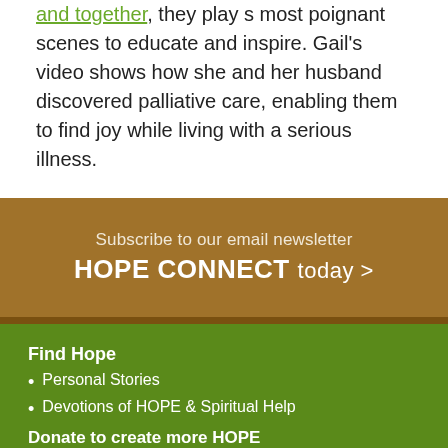and together, they play s most poignant scenes to educate and inspire. Gail's video shows how she and her husband discovered palliative care, enabling them to find joy while living with a serious illness.
Subscribe to our email newsletter HOPE CONNECT today >
Find Hope
Personal Stories
Devotions of HOPE & Spiritual Help
Donate to create more HOPE
Local Programs & Events
Articles from HOPE
About
HOPE Cancer Connection proudly serves the communities of